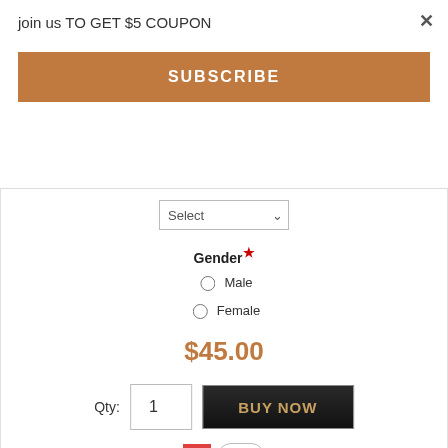join us TO GET $5 COUPON
×
SUBSCRIBE
Select
Gender*
Male
Female
$45.00
Qty: 1  BUY NOW
0
[Figure (screenshot): Halloween Custom Size Notice banner with orange decorative text title 'Halloween Custom Size Notice' on dark background, followed by text: Dear customers. New custom size orders that purchased from September 1 till October 31, 2022 will be delivered after Halloween (October 31).]